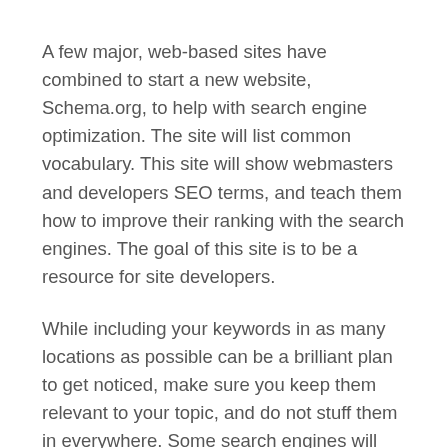A few major, web-based sites have combined to start a new website, Schema.org, to help with search engine optimization. The site will list common vocabulary. This site will show webmasters and developers SEO terms, and teach them how to improve their ranking with the search engines. The goal of this site is to be a resource for site developers.
While including your keywords in as many locations as possible can be a brilliant plan to get noticed, make sure you keep them relevant to your topic, and do not stuff them in everywhere. Some search engines will actually block sites who overload their websites who use too many, so use as many as you can. Just don't overdo it!
Remember to effectively use the description meta tag on your website, because that is what search engines will use to summarize what a page on your website is about. Search engines